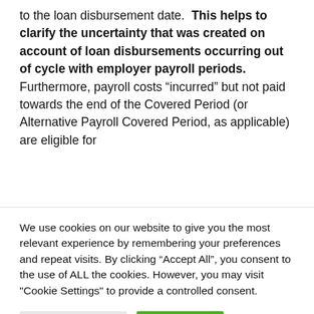to the loan disbursement date. This helps to clarify the uncertainty that was created on account of loan disbursements occurring out of cycle with employer payroll periods. Furthermore, payroll costs “incurred” but not paid towards the end of the Covered Period (or Alternative Payroll Covered Period, as applicable) are eligible for
We use cookies on our website to give you the most relevant experience by remembering your preferences and repeat visits. By clicking “Accept All”, you consent to the use of ALL the cookies. However, you may visit "Cookie Settings" to provide a controlled consent.